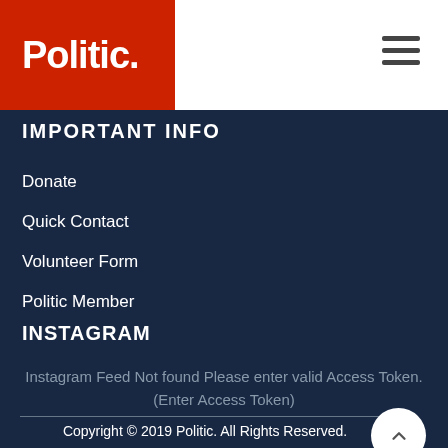Politic.
IMPORTANT INFO
Donate
Quick Contact
Volunteer Form
Politic Member
INSTAGRAM
Instagram Feed Not found Please enter valid Access Token.(Enter Access Token)
Copyright © 2019 Politic. All Rights Reserved.